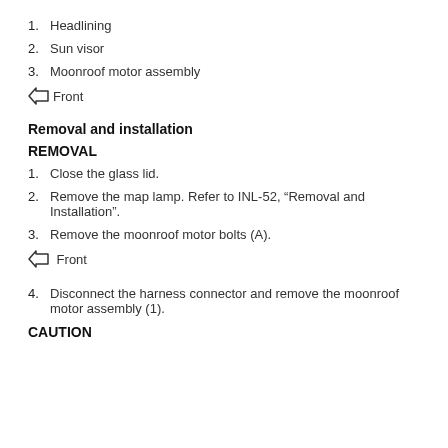1. Headlining
2. Sun visor
3. Moonroof motor assembly
⇦ Front
Removal and installation
REMOVAL
1. Close the glass lid.
2. Remove the map lamp. Refer to INL-52, "Removal and Installation".
3. Remove the moonroof motor bolts (A).
⇦ Front
4. Disconnect the harness connector and remove the moonroof motor assembly (1).
CAUTION